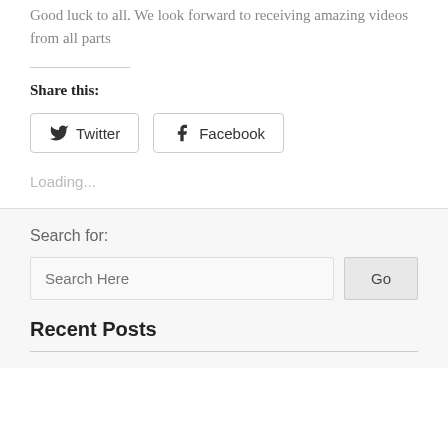Good luck to all. We look forward to receiving amazing videos from all parts
Share this:
[Figure (other): Twitter and Facebook share buttons]
Loading...
Search for:
Search Here
Recent Posts